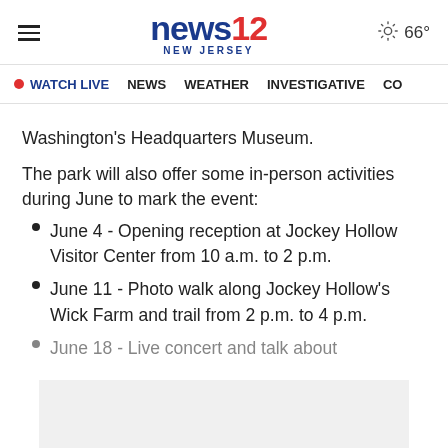news12 NEW JERSEY | 66°
• WATCH LIVE   NEWS   WEATHER   INVESTIGATIVE   CO
Washington's Headquarters Museum.
The park will also offer some in-person activities during June to mark the event:
June 4 - Opening reception at Jockey Hollow Visitor Center from 10 a.m. to 2 p.m.
June 11 - Photo walk along Jockey Hollow's Wick Farm and trail from 2 p.m. to 4 p.m.
June 18 - Live concert and talk about